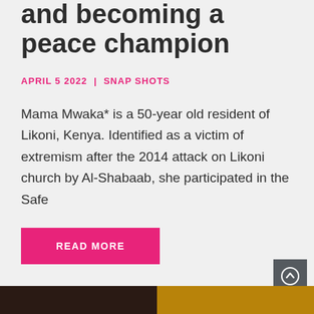and becoming a peace champion
APRIL 5 2022 | SNAP SHOTS
Mama Mwaka* is a 50-year old resident of Likoni, Kenya. Identified as a victim of extremism after the 2014 attack on Likoni church by Al-Shabaab, she participated in the Safe
READ MORE
[Figure (photo): Two partial photo thumbnails at bottom of page: left shows a dark-toned portrait, right shows a warm golden-toned image]